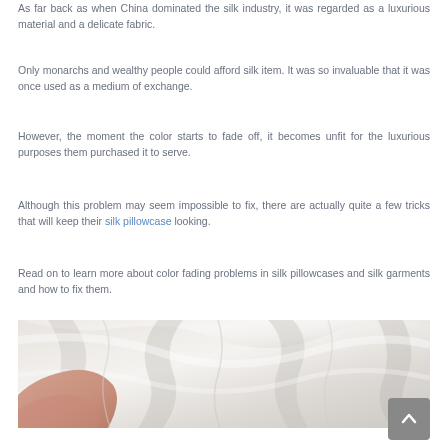As far back as when China dominated the silk industry, it was regarded as a luxurious material and a delicate fabric.
Only monarchs and wealthy people could afford silk item. It was so invaluable that it was once used as a medium of exchange.
However, the moment the color starts to fade off, it becomes unfit for the luxurious purposes them purchased it to serve.
Although this problem may seem impossible to fix, there are actually quite a few tricks that will keep their silk pillowcase looking.
Read on to learn more about color fading problems in silk pillowcases and silk garments and how to fix them.
[Figure (photo): Close-up photograph of white/cream silk fabric with soft folds and drapes, with a hand or skin visible in the lower left corner.]